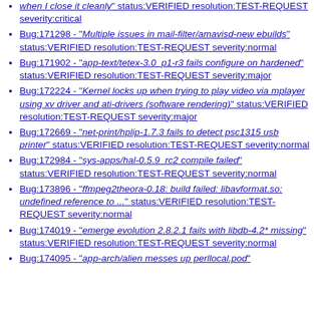when I close it cleanly" status:VERIFIED resolution:TEST-REQUEST severity:critical
Bug:171298 - "Multiple issues in mail-filter/amavisd-new ebuilds" status:VERIFIED resolution:TEST-REQUEST severity:normal
Bug:171902 - "app-text/tetex-3.0_p1-r3 fails configure on hardened" status:VERIFIED resolution:TEST-REQUEST severity:major
Bug:172224 - "Kernel locks up when trying to play video via mplayer using xv driver and ati-drivers (software rendering)" status:VERIFIED resolution:TEST-REQUEST severity:major
Bug:172669 - "net-print/hplip-1.7.3 fails to detect psc1315 usb printer" status:VERIFIED resolution:TEST-REQUEST severity:normal
Bug:172984 - "sys-apps/hal-0.5.9_rc2 compile failed" status:VERIFIED resolution:TEST-REQUEST severity:normal
Bug:173896 - "ffmpeg2theora-0.18: build failed: libavformat.so: undefined reference to ..." status:VERIFIED resolution:TEST-REQUEST severity:normal
Bug:174019 - "emerge evolution 2.8.2.1 fails with libdb-4.2* missing" status:VERIFIED resolution:TEST-REQUEST severity:normal
Bug:174095 - "app-arch/alien messes up perllocal.pod"